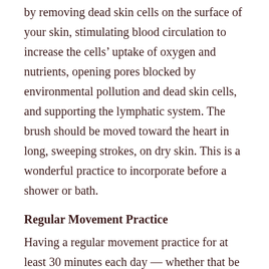by removing dead skin cells on the surface of your skin, stimulating blood circulation to increase the cells' uptake of oxygen and nutrients, opening pores blocked by environmental pollution and dead skin cells, and supporting the lymphatic system. The brush should be moved toward the heart in long, sweeping strokes, on dry skin. This is a wonderful practice to incorporate before a shower or bath.
Regular Movement Practice
Having a regular movement practice for at least 30 minutes each day — whether that be walking, jogging, rebounding, yoga, swimming, dancing or